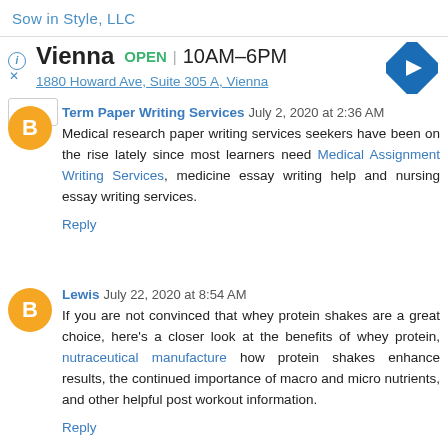Sow in Style, LLC
Vienna  OPEN | 10AM–6PM
1880 Howard Ave, Suite 305 A, Vienna
Term Paper Writing Services  July 2, 2020 at 2:36 AM
Medical research paper writing services seekers have been on the rise lately since most learners need Medical Assignment Writing Services, medicine essay writing help and nursing essay writing services.
Reply
Lewis  July 22, 2020 at 8:54 AM
If you are not convinced that whey protein shakes are a great choice, here's a closer look at the benefits of whey protein, nutraceutical manufacture how protein shakes enhance results, the continued importance of macro and micro nutrients, and other helpful post workout information.
Reply